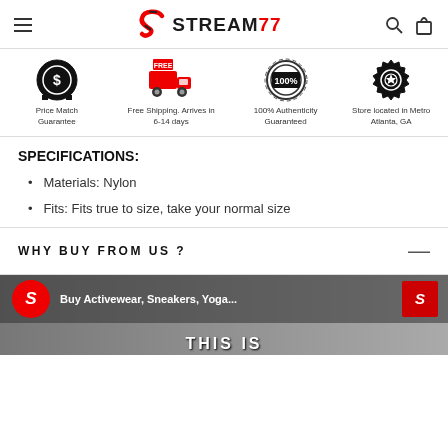STREAM77
[Figure (infographic): Four trust badge icons: Price Match Guarantee (dollar coin badge), Free Shipping Arrives in 6-14 days (red truck with FREE label), 100% Authenticity Guaranteed (100% seal), Store located in Metro Atlanta GA (star gear badge)]
SPECIFICATIONS:
Materials: Nylon
Fits: Fits true to size, take your normal size
WHY BUY FROM US ?
[Figure (screenshot): Stream77 YouTube video thumbnail showing a woman, Stream77 logo circle, text 'Buy Activewear, Sneakers, Yoga...' and THIS IS text at bottom]